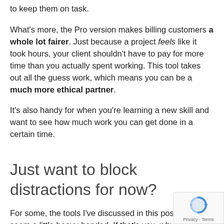to keep them on task.
What's more, the Pro version makes billing customers a whole lot fairer. Just because a project feels like it took hours, your client shouldn't have to pay for more time than you actually spent working. This tool takes out all the guess work, which means you can be a much more ethical partner.
It's also handy for when you're learning a new skill and want to see how much work you can get done in a certain time.
Just want to block distractions for now?
For some, the tools I've discussed in this post may seem a little heavy-handed. If that's you, why not give these tools and apps a whirl: